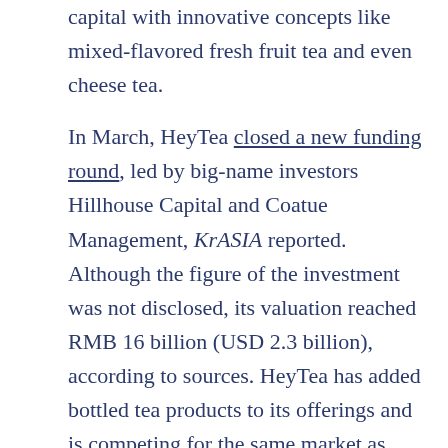capital with innovative concepts like mixed-flavored fresh fruit tea and even cheese tea.

In March, HeyTea closed a new funding round, led by big-name investors Hillhouse Capital and Coatue Management, KrASIA reported. Although the figure of the investment was not disclosed, its valuation reached RMB 16 billion (USD 2.3 billion), according to sources. HeyTea has added bottled tea products to its offerings and is competing for the same market as Genki Forest. Just a couple of days ago, HeyTea launched zero calories sodas under the sub-brand “Little HeyTea Factory.”